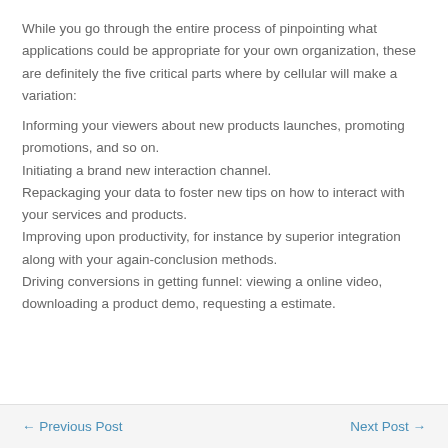While you go through the entire process of pinpointing what applications could be appropriate for your own organization, these are definitely the five critical parts where by cellular will make a variation:
Informing your viewers about new products launches, promoting promotions, and so on.
Initiating a brand new interaction channel.
Repackaging your data to foster new tips on how to interact with your services and products.
Improving upon productivity, for instance by superior integration along with your again-conclusion methods.
Driving conversions in getting funnel: viewing a online video, downloading a product demo, requesting a estimate.
← Previous Post   Next Post →